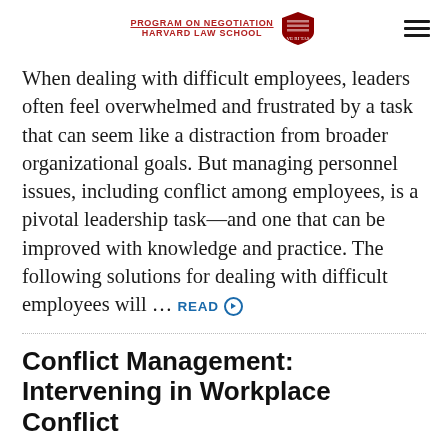PROGRAM ON NEGOTIATION HARVARD LAW SCHOOL
When dealing with difficult employees, leaders often feel overwhelmed and frustrated by a task that can seem like a distraction from broader organizational goals. But managing personnel issues, including conflict among employees, is a pivotal leadership task—and one that can be improved with knowledge and practice. The following solutions for dealing with difficult employees will … READ ▶
Conflict Management: Intervening in Workplace Conflict
POSTED DECEMBER 17TH, 2020 BY PON STAFF & FILED UNDER CONFLICT RESOLUTION.
Question: I'm aware of lots of unresolved personnel issues that seem to be festering in my department, such as complaints about someone who is not doing